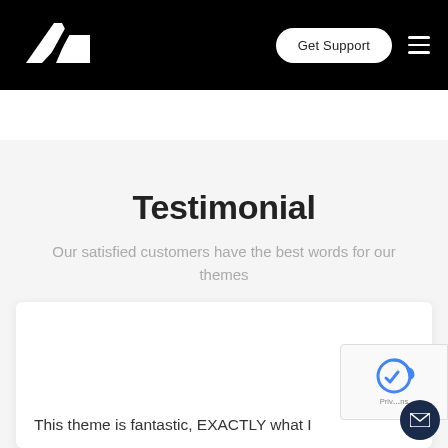[Figure (logo): White geometric logo resembling angular letter L/A on black background]
Get Support
Testimonial
Our satisfied customers have the best words for our themes
This theme is fantastic, EXACTLY what I